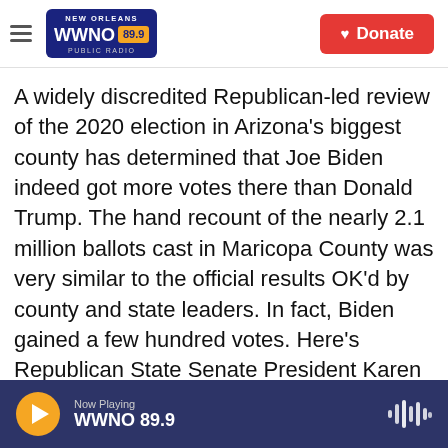WWNO 89.9 New Orleans Public Radio — Donate
A widely discredited Republican-led review of the 2020 election in Arizona's biggest county has determined that Joe Biden indeed got more votes there than Donald Trump. The hand recount of the nearly 2.1 million ballots cast in Maricopa County was very similar to the official results OK'd by county and state leaders. In fact, Biden gained a few hundred votes. Here's Republican State Senate President Karen Fann as she opened a presentation today to detail the results of the review.
(SOUNDBITE OF ARCHIVED RECORDING)
Now Playing WWNO 89.9